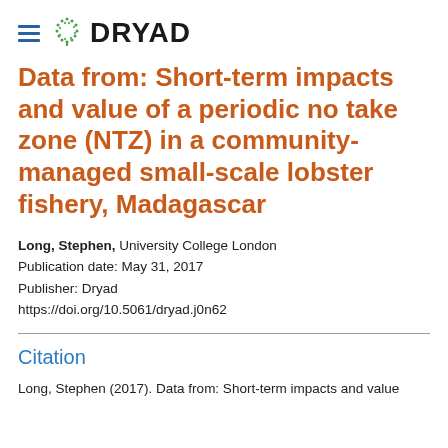DRYAD
Data from: Short-term impacts and value of a periodic no take zone (NTZ) in a community-managed small-scale lobster fishery, Madagascar
Long, Stephen, University College London
Publication date: May 31, 2017
Publisher: Dryad
https://doi.org/10.5061/dryad.j0n62
Citation
Long, Stephen (2017). Data from: Short-term impacts and value